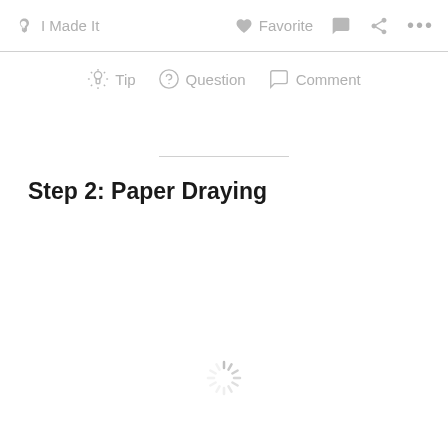✋ I Made It   ♥ Favorite   💬   ⋮⋮⋮
💡 Tip   ? Question   💬 Comment
Step 2: Paper Draying
[Figure (other): Loading spinner animation indicator]